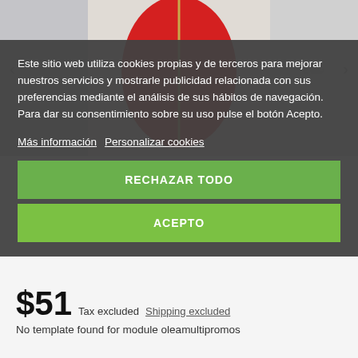[Figure (photo): Product photo showing a red high-heel shoe with gold zipper detail against a decorative grey background, partially visible behind cookie consent overlay]
Este sitio web utiliza cookies propias y de terceros para mejorar nuestros servicios y mostrarle publicidad relacionada con sus preferencias mediante el análisis de sus hábitos de navegación. Para dar su consentimiento sobre su uso pulse el botón Acepto.
Más información  Personalizar cookies
RECHAZAR TODO
ACEPTO
$51  Tax excluded  Shipping excluded
No template found for module oleamultipromos